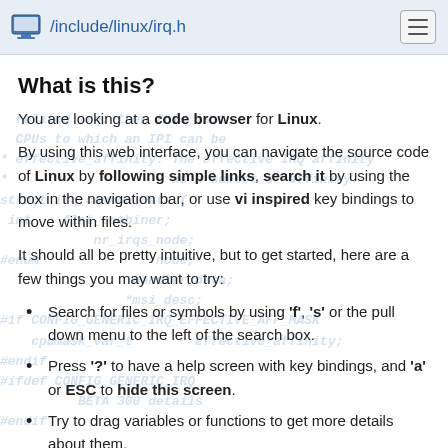/include/linux/irq.h
What is this?
You are looking at a code browser for Linux.
By using this web interface, you can navigate the source code of Linux by following simple links, search it by using the box in the navigation bar, or use vi inspired key bindings to move within files.
It should all be pretty intuitive, but to get started, here are a few things you may want to try:
Search for files or symbols by using 'f', 's' or the pull down menu to the left of the search box.
Press '?' to have a help screen with key bindings, and 'a' or ESC to hide this screen.
Try to drag variables or functions to get more details about them.
This site was generated via sbexr, which uses LLVM and clang to parse and index the code.
sbexr is free software (as in "free speech"), under heavy development, sbexr@sbexr.org and the Linux kernel source code...